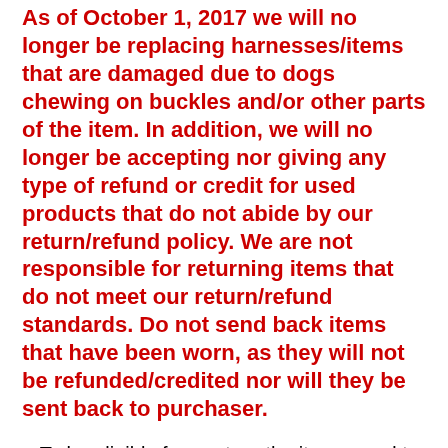As of October 1, 2017 we will no longer be replacing harnesses/items that are damaged due to dogs chewing on buckles and/or other parts of the item. In addition, we will no longer be accepting nor giving any type of refund or credit for used products that do not abide by our return/refund policy. We are not responsible for returning items that do not meet our return/refund standards. Do not send back items that have been worn, as they will not be refunded/credited nor will they be sent back to purchaser.
To be eligible for a return the items need to be in BRAND NEW, HAIR-FREE, unaltered, and